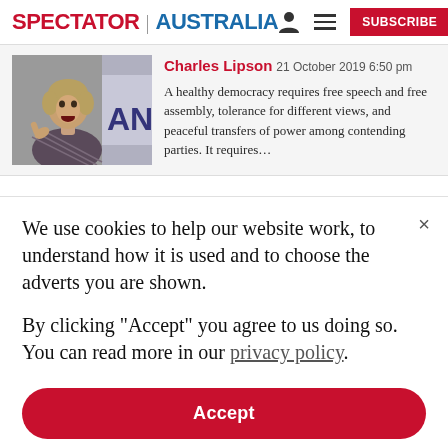SPECTATOR | AUSTRALIA
[Figure (photo): Photo of a woman with short blonde hair speaking with mouth open, wearing a patterned jacket, with letters 'AN' visible in background]
Charles Lipson 21 October 2019 6:50 pm
A healthy democracy requires free speech and free assembly, tolerance for different views, and peaceful transfers of power among contending parties. It requires…
We use cookies to help our website work, to understand how it is used and to choose the adverts you are shown.

By clicking "Accept" you agree to us doing so. You can read more in our privacy policy.
Accept